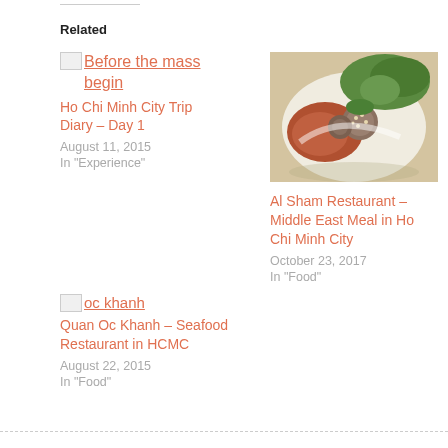Related
Before the mass begin
Ho Chi Minh City Trip Diary – Day 1
August 11, 2015
In "Experience"
[Figure (photo): Photo of Middle Eastern food dish with vegetables and garnish]
Al Sham Restaurant – Middle East Meal in Ho Chi Minh City
October 23, 2017
In "Food"
Quan Oc Khanh – Seafood Restaurant in HCMC
August 22, 2015
In "Food"